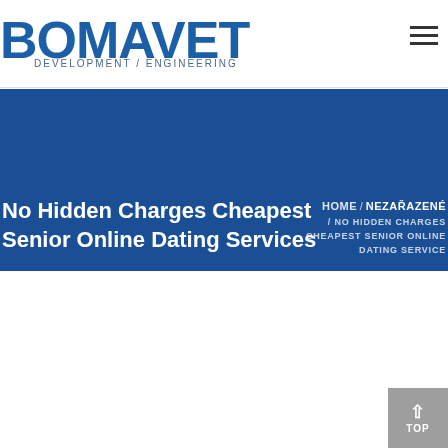BOMAVET DEVELOPMENT / ENGINEERING
No Hidden Charges Cheapest Senior Online Dating Services
HOME / NEZAŘAZENÉ / NO HIDDEN CHARGES CHEAPEST SENIOR ONLINE DATING SERVICE
No Hidden Charges Cheapest Senior Online Dating Services